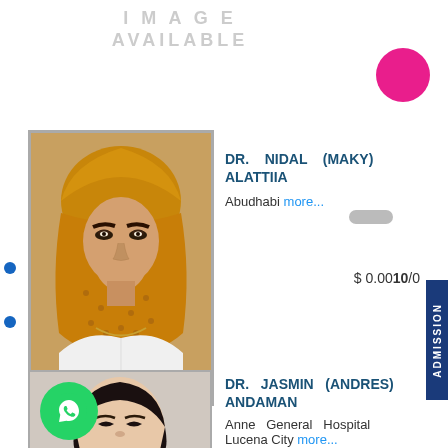IMAGE AVAILABLE
[Figure (photo): Doctor 1 profile photo - woman wearing hijab]
DR. NIDAL (MAKY) ALATTIIA
Abudhabi more...
$ 0.0010/0
[Figure (photo): Doctor 2 profile photo - woman with WhatsApp icon overlay]
DR. JASMIN (ANDRES) ANDAMAN
Anne General Hospital Lucena City more...